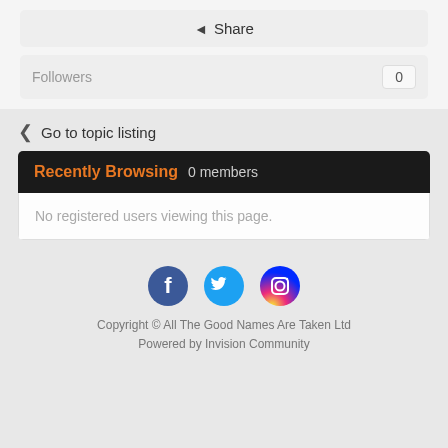Share
Followers  0
Go to topic listing
Recently Browsing  0 members
No registered users viewing this page.
[Figure (other): Social media icons: Facebook (blue circle), Twitter (cyan circle), Instagram (pink/red circle)]
Copyright © All The Good Names Are Taken Ltd
Powered by Invision Community